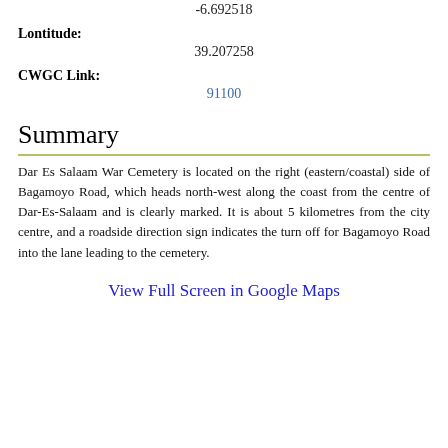-6.692518
Lontitude:
39.207258
CWGC Link:
91100
Summary
Dar Es Salaam War Cemetery is located on the right (eastern/coastal) side of Bagamoyo Road, which heads north-west along the coast from the centre of Dar-Es-Salaam and is clearly marked. It is about 5 kilometres from the city centre, and a roadside direction sign indicates the turn off for Bagamoyo Road into the lane leading to the cemetery.
View Full Screen in Google Maps